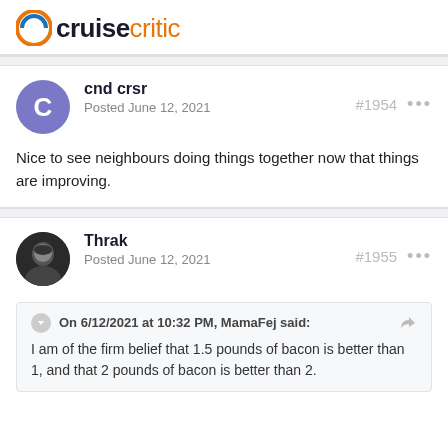Cruise Critic
cnd crsr
Posted June 12, 2021
#1954
Nice to see neighbours doing things together now that things are improving.
Thrak
Posted June 12, 2021
#1955
On 6/12/2021 at 10:32 PM, MamaFej said:
I am of the firm belief that 1.5 pounds of bacon is better than 1, and that 2 pounds of bacon is better than 2.